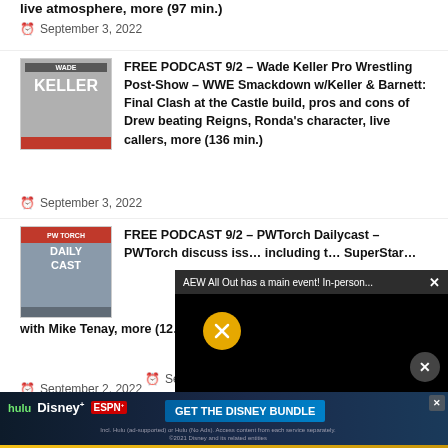live atmosphere, more (97 min.)
September 3, 2022
FREE PODCAST 9/2 – Wade Keller Pro Wrestling Post-Show – WWE Smackdown w/Keller & Barnett: Final Clash at the Castle build, pros and cons of Drew beating Reigns, Ronda's character, live callers, more (136 min.)
September 3, 2022
FREE PODCAST 9/2 – PWTorch Dailycast – PWTorch discuss issues including the SuperStars with Mike Tenay, more (12…
September 2, 2022
[Figure (screenshot): Video overlay popup showing 'AEW All Out has a main event! In-person...' with mute button and black video area]
FREE POD… Show – 5 Y… …erall …4 min.)
September 1, 2022
[Figure (screenshot): Disney Bundle advertisement banner with Hulu, Disney+, ESPN+ logos and 'GET THE DISNEY BUNDLE' CTA button]